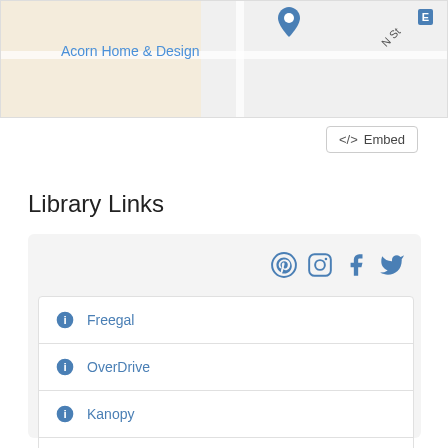[Figure (map): Map snippet showing Acorn Home & Design location with a pin marker, roads, and partial street labels]
Embed
Library Links
Freegal
OverDrive
Kanopy
Safari Books Online
Hoopla